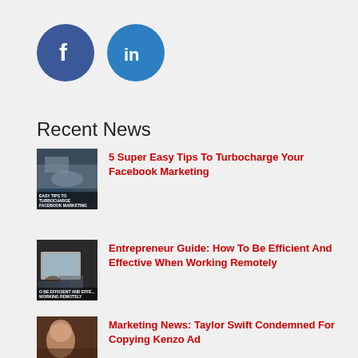[Figure (logo): Facebook and LinkedIn social media circular icon buttons]
Recent News
[Figure (photo): Thumbnail image for article: Easy Tips To Turbocharge Facebook Marketing - shows smoke/car scene]
5 Super Easy Tips To Turbocharge Your Facebook Marketing
[Figure (photo): Thumbnail image for article: Entrepreneur Guide - How To Be Efficient And Effective When Working Remotely - shows person at laptop]
Entrepreneur Guide: How To Be Efficient And Effective When Working Remotely
[Figure (photo): Thumbnail image for article: Marketing News Taylor Swift Condemned For Copying Kenzo Ad]
Marketing News: Taylor Swift Condemned For Copying Kenzo Ad